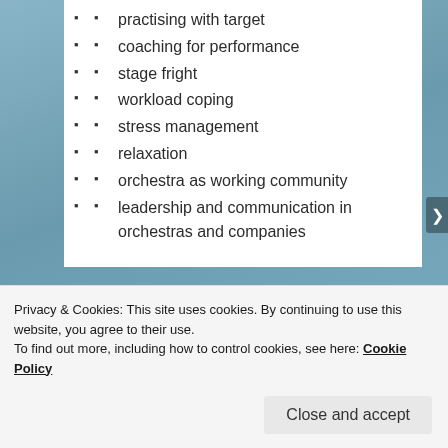practising with target
coaching for performance
stage fright
workload coping
stress management
relaxation
orchestra as working community
leadership and communication in orchestras and companies
[Figure (screenshot): WordPress.com advertisement banner reading 'everything you need.' with WordPress logo on a blue-to-pink gradient background. 'REPORT THIS AD' link below.]
Privacy & Cookies: This site uses cookies. By continuing to use this website, you agree to their use.
To find out more, including how to control cookies, see here: Cookie Policy
Close and accept